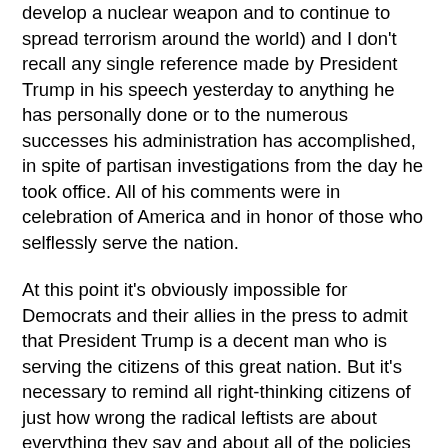develop a nuclear weapon and to continue to spread terrorism around the world) and I don't recall any single reference made by President Trump in his speech yesterday to anything he has personally done or to the numerous successes his administration has accomplished, in spite of partisan investigations from the day he took office. All of his comments were in celebration of America and in honor of those who selflessly serve the nation.
At this point it's obviously impossible for Democrats and their allies in the press to admit that President Trump is a decent man who is serving the citizens of this great nation. But it's necessary to remind all right-thinking citizens of just how wrong the radical leftists are about everything they say and about all of the policies the Democrat candidates are espousing, in the tragic event that one of them should get elected to the presidency in 2020.
Intelligent people will be aware that rogue, dictatorial nations are born when leftists push a Socialist agenda every day of every week, whether in a political season or during a non-political year, and they'll recall that it was Democrat